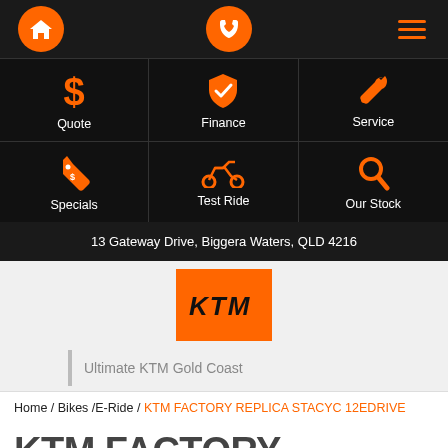Navigation bar with home, phone, and menu icons
[Figure (infographic): 6-cell icon grid on black background with orange icons: Quote (dollar sign), Finance (shield with checkmark), Service (wrench), Specials (price tag), Test Ride (motorcycle), Our Stock (magnifying glass). White text labels below each icon.]
13 Gateway Drive, Biggera Waters, QLD 4216
[Figure (logo): KTM logo in white on orange square background]
Ultimate KTM Gold Coast
Home / Bikes /E-Ride / KTM FACTORY REPLICA STACYC 12EDRIVE
KTM FACTORY REPLICA